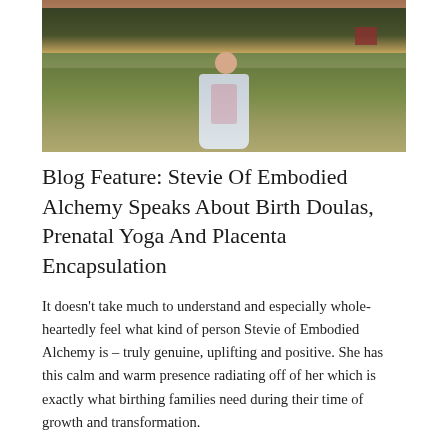[Figure (photo): A woman in a white dress with pink floral pattern standing in a green field at dusk, with trees and a red barn in the background.]
Blog Feature: Stevie Of Embodied Alchemy Speaks About Birth Doulas, Prenatal Yoga And Placenta Encapsulation
It doesn't take much to understand and especially whole-heartedly feel what kind of person Stevie of Embodied Alchemy is – truly genuine, uplifting and positive. She has this calm and warm presence radiating off of her which is exactly what birthing families need during their time of growth and transformation.
READ MORE »